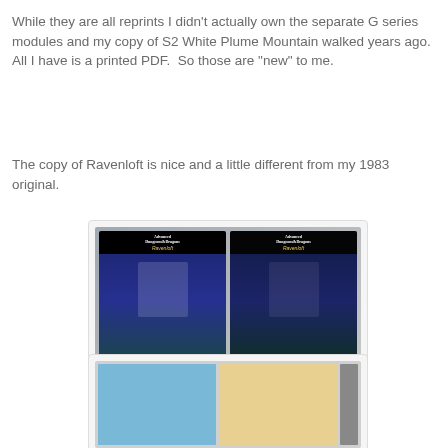While they are all reprints I didn't actually own the separate G series modules and my copy of S2 White Plume Mountain walked years ago.  All I have is a printed PDF.  So those are "new" to me.
The copy of Ravenloft is nice and a little different from my 1983 original.
[Figure (photo): Two copies of Advanced Dungeons & Dragons Ravenloft module side by side, showing cover art with a vampire and castle.]
[Figure (photo): Open Ravenloft module showing blue and tan/orange map pages with dungeon layouts.]